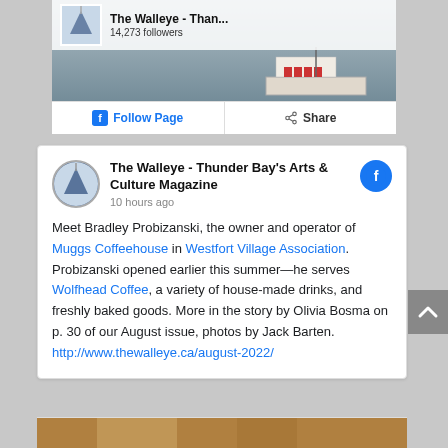[Figure (screenshot): Facebook page banner for The Walleye - Thunder Bay's Arts & Culture Magazine showing a harbour/waterfront scene with a boat, cloudy sky, profile thumbnail, follower count (14,273 followers), Follow Page button, and Share button]
The Walleye - Thunder Bay's Arts & Culture Magazine
10 hours ago
Meet Bradley Probizanski, the owner and operator of Muggs Coffeehouse in Westfort Village Association. Probizanski opened earlier this summer—he serves Wolfhead Coffee, a variety of house-made drinks, and freshly baked goods. More in the story by Olivia Bosma on p. 30 of our August issue, photos by Jack Barten. http://www.thewalleye.ca/august-2022/
[Figure (photo): Bottom partial photo, warm tones (orange/brown), bottom of the post card]